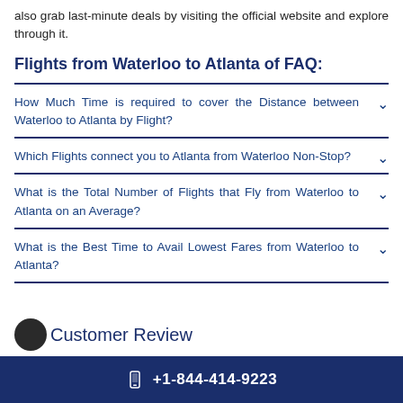also grab last-minute deals by visiting the official website and explore through it.
Flights from Waterloo to Atlanta of FAQ:
How Much Time is required to cover the Distance between Waterloo to Atlanta by Flight?
Which Flights connect you to Atlanta from Waterloo Non-Stop?
What is the Total Number of Flights that Fly from Waterloo to Atlanta on an Average?
What is the Best Time to Avail Lowest Fares from Waterloo to Atlanta?
Customer Review
+1-844-414-9223